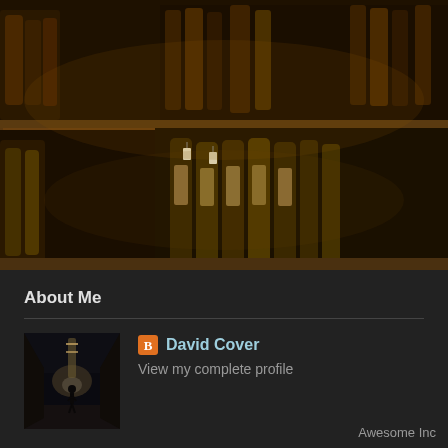[Figure (photo): Photo of whisky/liquor bottles on wooden shelves in a dark shop, with a sign reading 'ON & MACPHA...' visible. Bottles have labels and hang tags. Dark warm amber lighting.]
About Me
[Figure (photo): Small profile thumbnail: silhouette of a person walking in a long dark corridor or underpass.]
David Cover
View my complete profile
Awesome Inc